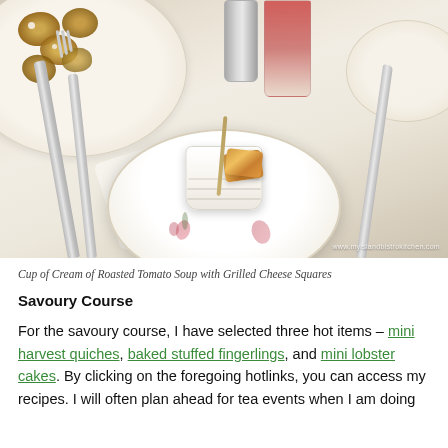[Figure (photo): A table setting with a white floral plate holding a white ramekin filled with grilled cheese squares on skewers. In the background, a plate of mini harvest quiches and other pastries is visible. Silverware (two forks on left, knife on right), a folded napkin, and a red drink in a glass are also visible. Watermark reads www.myislandbistrokitchen.com]
Cup of Cream of Roasted Tomato Soup with Grilled Cheese Squares
Savoury Course
For the savoury course, I have selected three hot items – mini harvest quiches, baked stuffed fingerlings, and mini lobster cakes. By clicking on the foregoing hotlinks, you can access my recipes. I will often plan ahead for tea events when I am doing